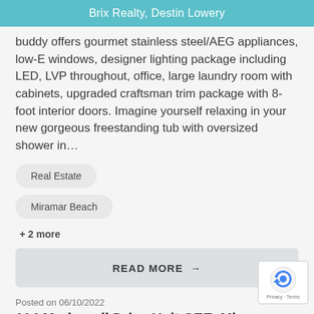Brix Realty, Destin Lowery
buddy offers gourmet stainless steel/AEG appliances, low-E windows, designer lighting package including LED, LVP throughout, office, large laundry room with cabinets, upgraded craftsman trim package with 8-foot interior doors. Imagine yourself relaxing in your new gorgeous freestanding tub with oversized shower in…
Real Estate
Miramar Beach
+ 2 more
READ MORE →
Posted on 06/10/2022
114 Marinerail Drive Unit GEE, Mi...